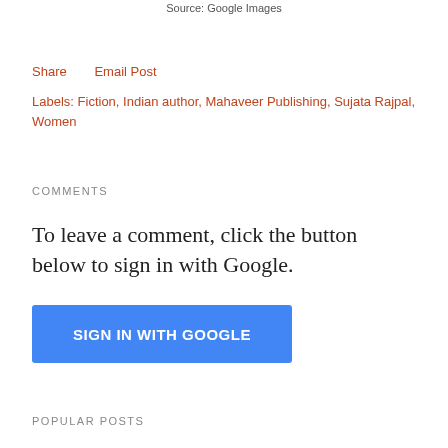Source: Google Images
Share    Email Post
Labels: Fiction, Indian author, Mahaveer Publishing, Sujata Rajpal, Women
COMMENTS
To leave a comment, click the button below to sign in with Google.
[Figure (other): Blue 'SIGN IN WITH GOOGLE' button]
POPULAR POSTS